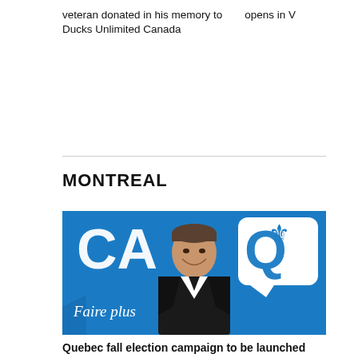veteran donated in his memory to Ducks Unlimited Canada
opens in V
MONTREAL
[Figure (photo): A man in a dark suit smiling in front of a blue CAQ (Coalition Avenir Québec) banner with 'Faire plus ...ieux.' text and a fleur-de-lis logo]
Quebec fall election campaign to be launched